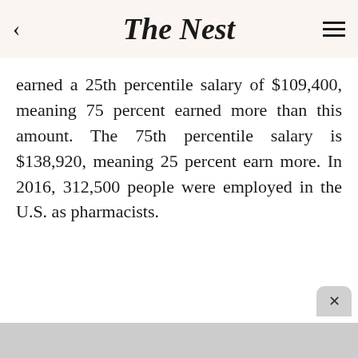The Nest
earned a 25th percentile salary of $109,400, meaning 75 percent earned more than this amount. The 75th percentile salary is $138,920, meaning 25 percent earn more. In 2016, 312,500 people were employed in the U.S. as pharmacists.